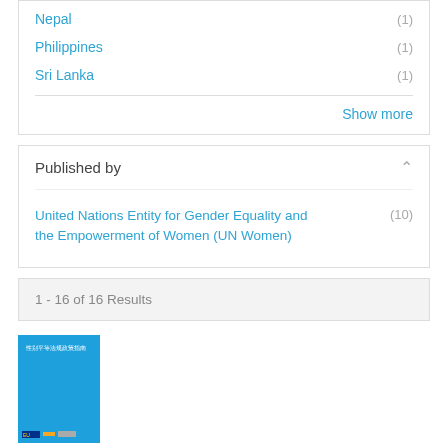Nepal (1)
Philippines (1)
Sri Lanka (1)
Show more
Published by
United Nations Entity for Gender Equality and the Empowerment of Women (UN Women) (10)
1 - 16 of 16 Results
[Figure (illustration): Blue book cover with Chinese text (性别平等法规政策指南), with EU logo, yellow bar, and gray bar at the bottom.]